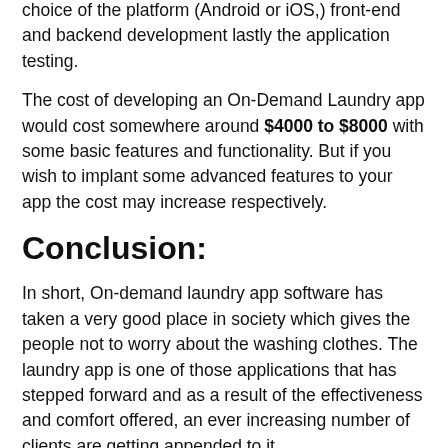choice of the platform (Android or iOS,) front-end and backend development lastly the application testing.
The cost of developing an On-Demand Laundry app would cost somewhere around $4000 to $8000 with some basic features and functionality. But if you wish to implant some advanced features to your app the cost may increase respectively.
Conclusion:
In short, On-demand laundry app software has taken a very good place in society which gives the people not to worry about the washing clothes. The laundry app is one of those applications that has stepped forward and as a result of the effectiveness and comfort offered, an ever increasing number of clients are getting appended to it.
Therefore, in the event that you are hoping to build up a